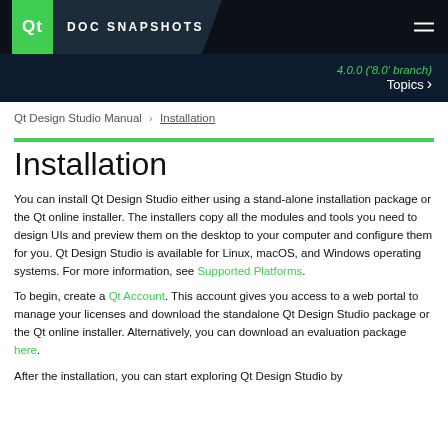Qt DOC SNAPSHOTS
4.0.0 ('8.0' branch)
Topics >
Qt Design Studio Manual > Installation
Installation
You can install Qt Design Studio either using a stand-alone installation package or the Qt online installer. The installers copy all the modules and tools you need to design UIs and preview them on the desktop to your computer and configure them for you. Qt Design Studio is available for Linux, macOS, and Windows operating systems. For more information, see Supported Platforms.
To begin, create a Qt Account. This account gives you access to a web portal to manage your licenses and download the standalone Qt Design Studio package or the Qt online installer. Alternatively, you can download an evaluation package here.
After the installation, you can start exploring Qt Design Studio by